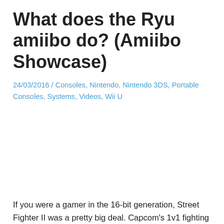What does the Ryu amiibo do? (Amiibo Showcase)
24/03/2016 / Consoles, Nintendo, Nintendo 3DS, Portable Consoles, Systems, Videos, Wii U
[Figure (other): Embedded video placeholder area]
If you were a gamer in the 16-bit generation, Street Fighter II was a pretty big deal. Capcom's 1v1 fighting extravaganza was the definitive beat-em-up experience, whether played in